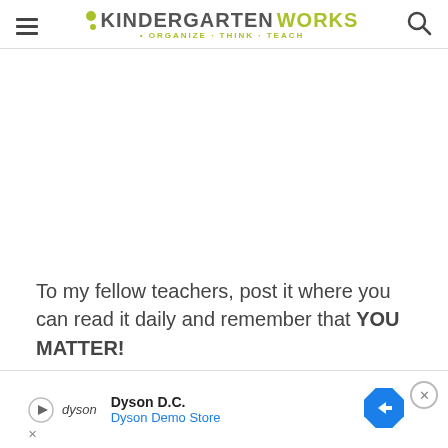KINDERGARTENWORKS • ORGANIZE · THINK · TEACH
To my fellow teachers, post it where you can read it daily and remember that YOU MATTER!
[Figure (infographic): Advertisement banner for Dyson D.C. Dyson Demo Store with play button, Dyson logo, blue diamond direction sign icon, and close button.]